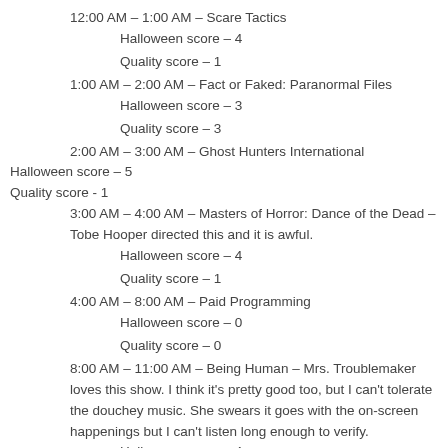12:00 AM – 1:00 AM – Scare Tactics
Halloween score – 4
Quality score – 1
1:00 AM – 2:00 AM – Fact or Faked: Paranormal Files
Halloween score – 3
Quality score – 3
2:00 AM – 3:00 AM – Ghost Hunters International
Halloween score – 5
Quality score - 1
3:00 AM – 4:00 AM – Masters of Horror: Dance of the Dead – Tobe Hooper directed this and it is awful.
Halloween score – 4
Quality score – 1
4:00 AM – 8:00 AM – Paid Programming
Halloween score – 0
Quality score – 0
8:00 AM – 11:00 AM – Being Human – Mrs. Troublemaker loves this show. I think it's pretty good too, but I can't tolerate the douchey music. She swears it goes with the on-screen happenings but I can't listen long enough to verify.
Halloween score – 4
Quality score – 4